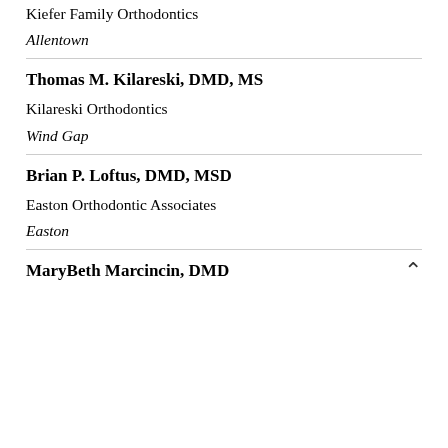Kiefer Family Orthodontics
Allentown
Thomas M. Kilareski, DMD, MS
Kilareski Orthodontics
Wind Gap
Brian P. Loftus, DMD, MSD
Easton Orthodontic Associates
Easton
MaryBeth Marcincin, DMD